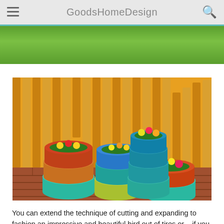GoodsHomeDesign
[Figure (photo): Top portion of an image showing green grass, partially cropped at the top of the page.]
[Figure (photo): Colorful painted tires stacked and used as garden planters with flowers, set against a yellow wooden fence/pallet wall backdrop on a brick patio.]
You can extend the technique of cutting and expanding to fashion an impressive and beautiful bird out of tires or – if you are up to the challenge – make an entire tree! The nicest thing about using tires to refresh your garden is that you could use it not only for